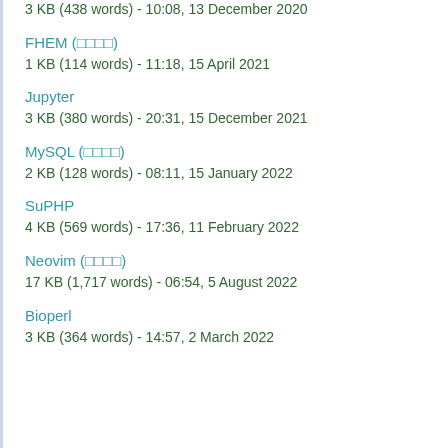3 KB (438 words) - 10:08, 13 December 2020
FHEM (□□□□)
1 KB (114 words) - 11:18, 15 April 2021
Jupyter
3 KB (380 words) - 20:31, 15 December 2021
MySQL (□□□□)
2 KB (128 words) - 08:11, 15 January 2022
SuPHP
4 KB (569 words) - 17:36, 11 February 2022
Neovim (□□□□)
17 KB (1,717 words) - 06:54, 5 August 2022
Bioperl
3 KB (364 words) - 14:57, 2 March 2022